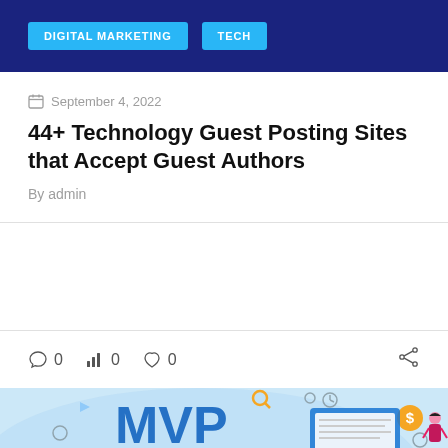DIGITAL MARKETING | TECH
September 4, 2022
44+ Technology Guest Posting Sites that Accept Guest Authors
By admin
0  0  0
[Figure (illustration): Technology illustration showing MVP text with digital marketing icons, a female figure, and tech UI elements on a light blue background]